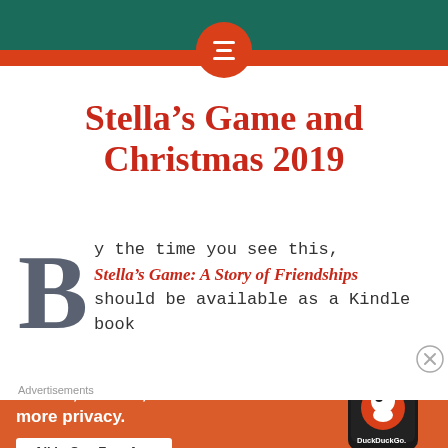Stella's Game and Christmas 2019
By the time you see this, Stella's Game: A Story of Friendships should be available as a Kindle book
[Figure (screenshot): DuckDuckGo advertisement banner: orange background with text 'Search, browse, and email with more privacy. All in One Free App' and a phone image with DuckDuckGo logo]